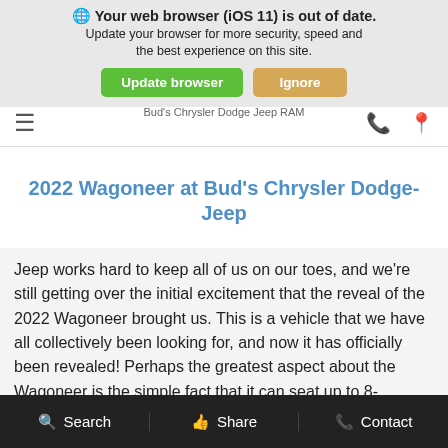[Figure (screenshot): Browser out-of-date warning banner with 'Update browser' (green) and 'Ignore' (tan) buttons.]
Bud's Chrysler Dodge Jeep RAM
2022 Wagoneer at Bud's Chrysler Dodge-Jeep
Jeep works hard to keep all of us on our toes, and we're still getting over the initial excitement that the reveal of the 2022 Wagoneer brought us. This is a vehicle that we have all collectively been looking for, and now it has officially been revealed! Perhaps the greatest aspect about the Wagoneer is the simple fact that it can seat up to 8-passengers with three-rows of seating. This drastically increases the Jeep SUV lineup, giving all of you more options than ever before, especially if you have a large family. We're also pleased with the body-on-frame chassis, the super luxurious interior, the standard engine, and all of the technology that you will be able to use. Down below we're going to go through more
Search   Share   Contact